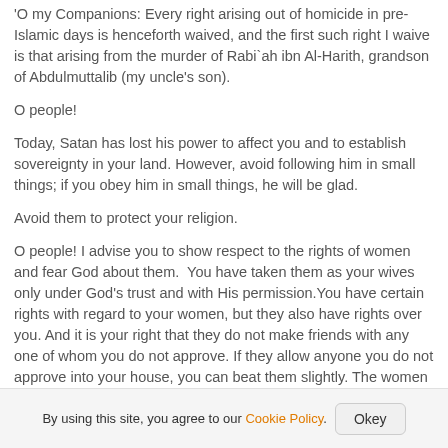'O my Companions: Every right arising out of homicide in pre-Islamic days is henceforth waived, and the first such right I waive is that arising from the murder of Rabi`ah ibn Al-Harith, grandson of Abdulmuttalib (my uncle's son).
O people!
Today, Satan has lost his power to affect you and to establish sovereignty in your land. However, avoid following him in small things; if you obey him in small things, he will be glad.
Avoid them to protect your religion.
O people! I advise you to show respect to the rights of women and fear God about them.  You have taken them as your wives only under God's trust and with His permission.You have certain rights with regard to your women, but they also have rights over you. And it is your right that they do not make friends with any one of whom you do not approve. If they allow anyone you do not approve into your house, you can beat them slightly. The women have the right to their food and
By using this site, you agree to our Cookie Policy.